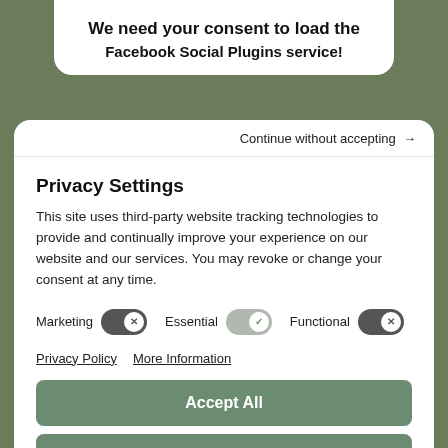We need your consent to load the Facebook Social Plugins service!
Continue without accepting →
Privacy Settings
This site uses third-party website tracking technologies to provide and continually improve your experience on our website and our services. You may revoke or change your consent at any time.
Marketing [toggle off]  Essential [toggle on]  Functional [toggle off]
Privacy Policy   More Information
Accept All
Deny
Save Settings
Powered by Usercentrics Consent Management